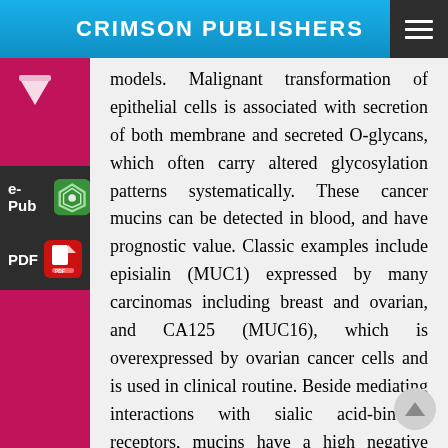CRIMSON PUBLISHERS
models. Malignant transformation of epithelial cells is associated with secretion of both membrane and secreted O-glycans, which often carry altered glycosylation patterns systematically. These cancer mucins can be detected in blood, and have prognostic value. Classic examples include episialin (MUC1) expressed by many carcinomas including breast and ovarian, and CA125 (MUC16), which is overexpressed by ovarian cancer cells and is used in clinical routine. Beside mediating interactions with sialic acid-binding receptors, mucins have a high negative charge associated